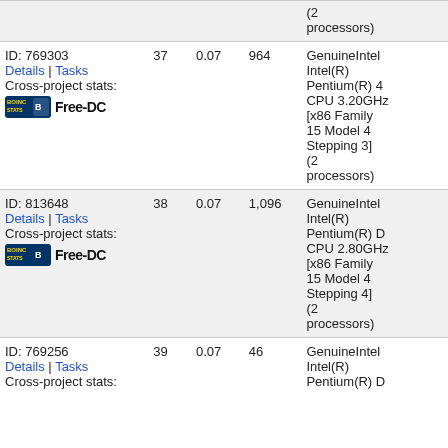| Computer | Tasks | Avg time | Total | OS/CPU |
| --- | --- | --- | --- | --- |
| (2 processors) |  |  |  |  |
| ID: 769303
Details | Tasks
Cross-project stats: | 37 | 0.07 | 964 | GenuineIntel Intel(R) Pentium(R) 4 CPU 3.20GHz [x86 Family 15 Model 4 Stepping 3] (2 processors) |
| ID: 813648
Details | Tasks
Cross-project stats: | 38 | 0.07 | 1,096 | GenuineIntel Intel(R) Pentium(R) D CPU 2.80GHz [x86 Family 15 Model 4 Stepping 4] (2 processors) |
| ID: 769256
Details | Tasks
Cross-project stats: | 39 | 0.07 | 46 | GenuineIntel Intel(R) Pentium(R) D |